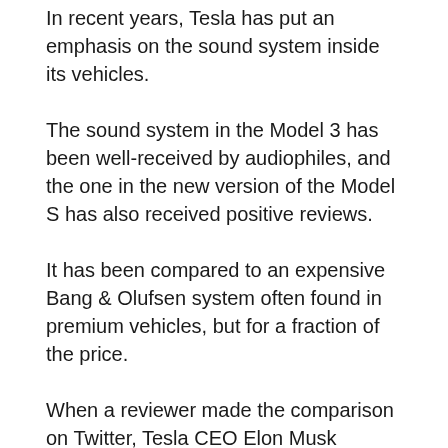In recent years, Tesla has put an emphasis on the sound system inside its vehicles.
The sound system in the Model 3 has been well-received by audiophiles, and the one in the new version of the Model S has also received positive reviews.
It has been compared to an expensive Bang & Olufsen system often found in premium vehicles, but for a fraction of the price.
When a reviewer made the comparison on Twitter, Tesla CEO Elon Musk commented:
TESLA AUDIO ENGINEERS COME FROM B&O & MANY OTHER COMPANIES. THEY LITERALLY ROCK. OUR SYSTEM IS HIGHLY...